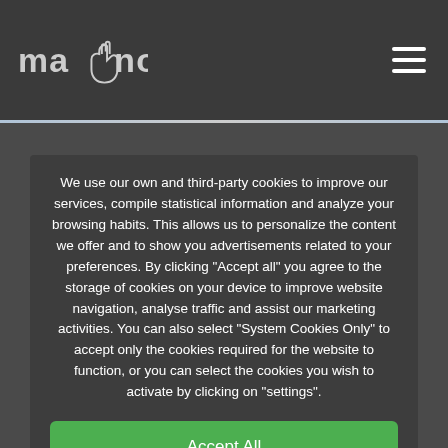mano [logo] navigation menu
We use our own and third-party cookies to improve our services, compile statistical information and analyze your browsing habits. This allows us to personalize the content we offer and to show you advertisements related to your preferences. By clicking "Accept all" you agree to the storage of cookies on your device to improve website navigation, analyse traffic and assist our marketing activities. You can also select "System Cookies Only" to accept only the cookies required for the website to function, or you can select the cookies you wish to activate by clicking on "settings".
Accept All
Only sistem cookies
Configuration